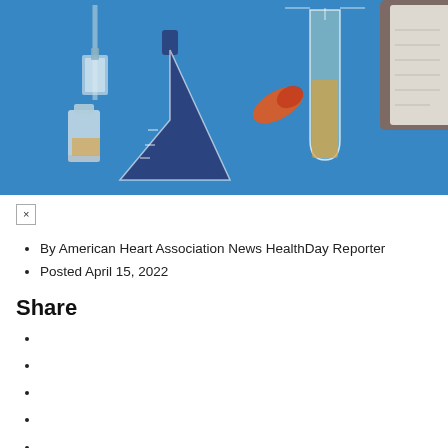[Figure (illustration): Blue-toned illustration of laboratory glassware including a dark blue Erlenmeyer flask, a test tube with orange/yellow granules, a small labeled bottle, a syringe, an orange capsule pill, and a gloved hand holding a clipboard or document, on a blue textured background.]
By American Heart Association News HealthDay Reporter
Posted April 15, 2022
Share
AHA News: Future of COVID-19 Vaccines Brings High Hopes, Familiar